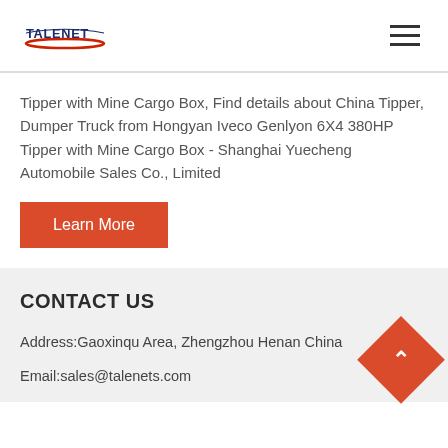[Figure (logo): Talenet logo with red swoosh underline and blue text TALENET]
Tipper with Mine Cargo Box, Find details about China Tipper, Dumper Truck from Hongyan Iveco Genlyon 6X4 380HP Tipper with Mine Cargo Box - Shanghai Yuecheng Automobile Sales Co., Limited
Learn More
CONTACT US
Address:Gaoxinqu Area, Zhengzhou Henan China
Email:sales@talenets.com